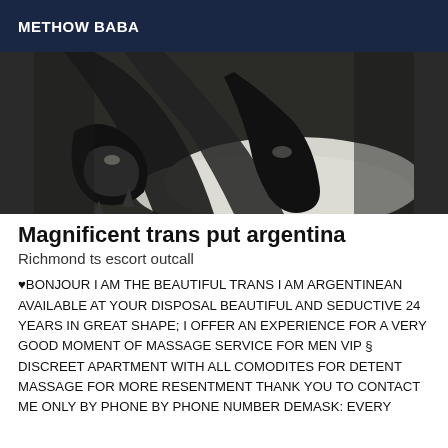METHOW BABA
[Figure (photo): Photo showing legs wearing high heels and dark stockings resting on a white pillow against a dark background]
Magnificent trans put argentina
Richmond ts escort outcall
♥BONJOUR I AM THE BEAUTIFUL TRANS I AM ARGENTINEAN AVAILABLE AT YOUR DISPOSAL BEAUTIFUL AND SEDUCTIVE 24 YEARS IN GREAT SHAPE; I OFFER AN EXPERIENCE FOR A VERY GOOD MOMENT OF MASSAGE SERVICE FOR MEN VIP § DISCREET APARTMENT WITH ALL COMODITES FOR DETENT MASSAGE FOR MORE RESENTMENT THANK YOU TO CONTACT ME ONLY BY PHONE BY PHONE NUMBER DEMASK: EVERY